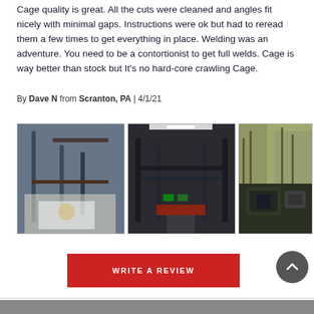Cage quality is great. All the cuts were cleaned and angles fit nicely with minimal gaps. Instructions were ok but had to reread them a few times to get everything in place. Welding was an adventure. You need to be a contortionist to get full welds. Cage is way better than stock but It's no hard-core crawling Cage.
By Dave N from Scranton, PA | 4/1/21
[Figure (photo): Interior view of a roll cage being installed, showing steel tubes and welding work from below]
[Figure (photo): Interior view of a Jeep with a roll cage installed, lit from above with fluorescent light]
[Figure (photo): Exterior view of a Jeep on a trail in the woods with the roll cage visible]
WRITE A REVIEW